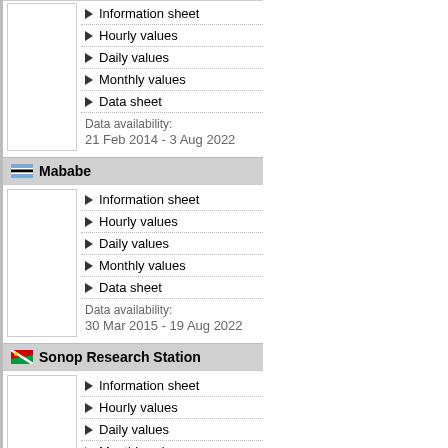Information sheet
Hourly values
Daily values
Monthly values
Data sheet
Data availability:
21 Feb 2014 - 3 Aug 2022
Mababe
Information sheet
Hourly values
Daily values
Monthly values
Data sheet
Data availability:
30 Mar 2015 - 19 Aug 2022
Sonop Research Station
Information sheet
Hourly values
Daily values
Monthly values
Data sheet
Data availability:
9 Oct 2010 - 17 Dec 2020